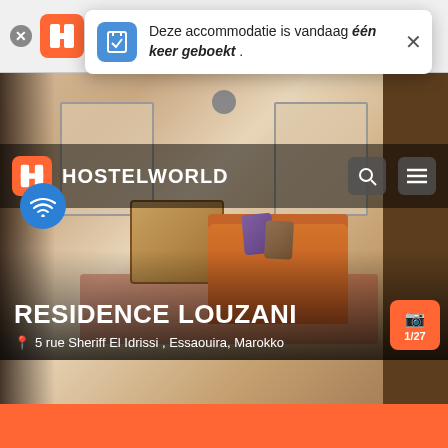[Figure (screenshot): Hostelworld app screenshot showing a notification banner 'Deze accommodatie is vandaag één keer geboekt.' over a top browser bar with Hostelworld logo and 4 star rating]
[Figure (photo): Interior room photo showing an orange sofa, small wooden table, and windows, with Hostelworld header overlay]
RESIDENCE LOUZANI
5 rue Sheriff El Idrissi , Essaouira, Marokko